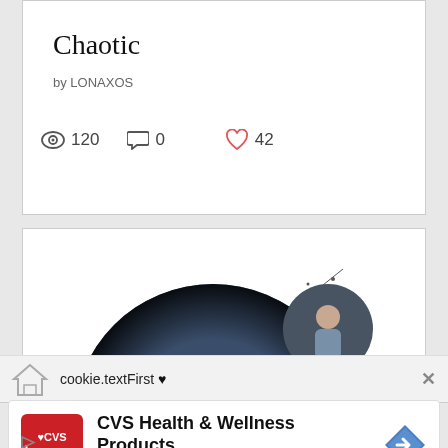Chaotic
by LONAXOS
120  0  42
[Figure (illustration): Book cover art showing two people standing together with circular framing and additional character portraits, text reads NEED WANT SUCH A FINE LINE]
cookie.textFirst ♥
CVS Health & Wellness Products CVS